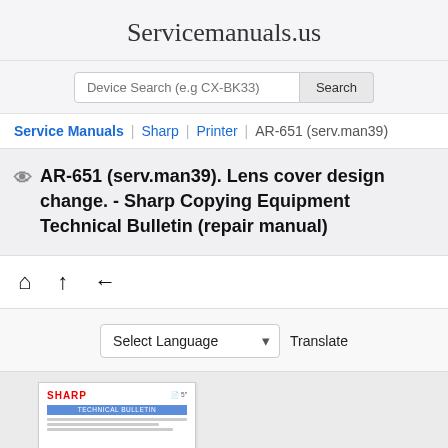Servicemanuals.us
Device Search (e.g CX-BK33)   Search
Service Manuals | Sharp | Printer | AR-651 (serv.man39)
AR-651 (serv.man39). Lens cover design change. - Sharp Copying Equipment Technical Bulletin (repair manual)
[Figure (screenshot): Navigation icons: home, up arrow, back arrow]
Select Language   Translate
[Figure (screenshot): Thumbnail preview of Sharp Technical Bulletin document showing SHARP logo, document number, blue TECHNICAL BULLETIN bar, and text lines]